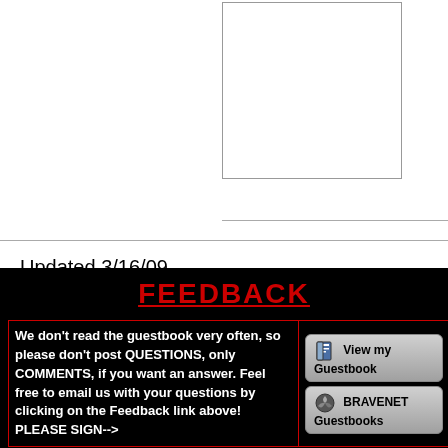[Figure (other): Empty white box placeholder image in upper right area]
Updated 3/16/09
FEEDBACK
We don't read the guestbook very often, so please don't post QUESTIONS, only COMMENTS, if you want an answer. Feel free to email us with your questions by clicking on the Feedback link above! PLEASE SIGN-->